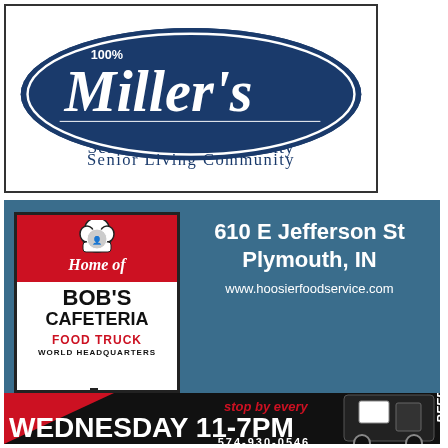[Figure (logo): Miller's Senior Living Community logo — white oval with dark blue filled oval containing cursive 'Miller's' text and '100%' at top, with 'Senior Living Community' text in navy below]
[Figure (infographic): Bob's Cafeteria Food Truck advertisement on blue background. Left side: white sign with red top showing 'Home of' in italic script, chef hat circle icon, 'BOB'S CAFETERIA' in bold black, 'FOOD TRUCK' in red, 'WORLD HEADQUARTERS' in black small text. Right side: '610 E Jefferson St Plymouth, IN' in white bold, 'www.hoosierfoodservice.com' in white. Bottom: black truck silhouette with red triangle, 'stop by every' in red italic, 'WEDNESDAY 11-7PM' in large white bold, '574-930-0546' in white, 'BEEP BE' in white italic.]